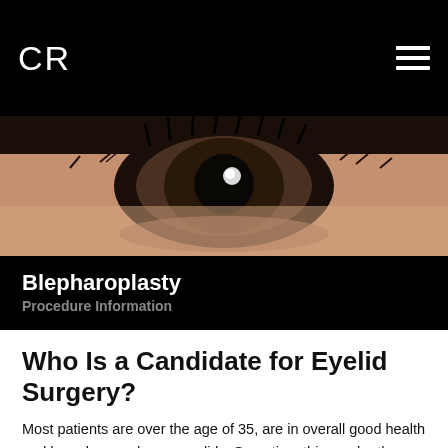CR
[Figure (photo): Close-up macro photograph of a human eye with surgical stitches along the eyelid, showing the iris, pupil, and surrounding skin texture after blepharoplasty surgery.]
Blepharoplasty
Procedure Information
Who Is a Candidate for Eyelid Surgery?
Most patients are over the age of 35, are in overall good health and have baggy, droopy eyelids. Sometime this can be the result of heredity, as well as age. It's also necessary to have proper expectations.
For example, know that the results of an eye lift could